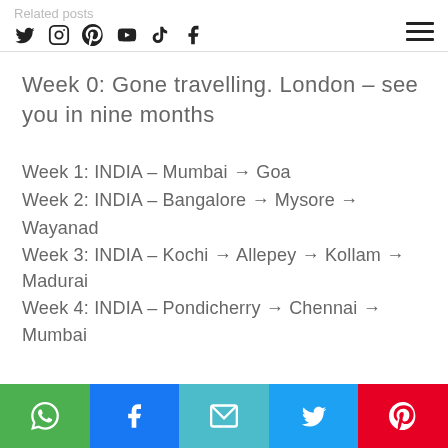Related posts
Week 0: Gone travelling. London – see you in nine months
Week 1: INDIA – Mumbai → Goa
Week 2: INDIA – Bangalore → Mysore → Wayanad
Week 3: INDIA – Kochi → Allepey → Kollam → Madurai
Week 4: INDIA – Pondicherry → Chennai → Mumbai